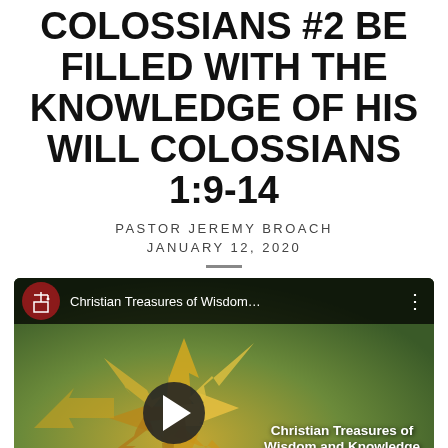COLOSSIANS #2 BE FILLED WITH THE KNOWLEDGE OF HIS WILL COLOSSIANS 1:9-14
PASTOR JEREMY BROACH
JANUARY 12, 2020
[Figure (screenshot): YouTube video thumbnail for 'Christian Treasures of Wisdom and Knowledge - The Epistle to the Colossians' showing arrows radiating outward on a green/gold background with a play button overlay and a dark top bar with channel logo and name.]